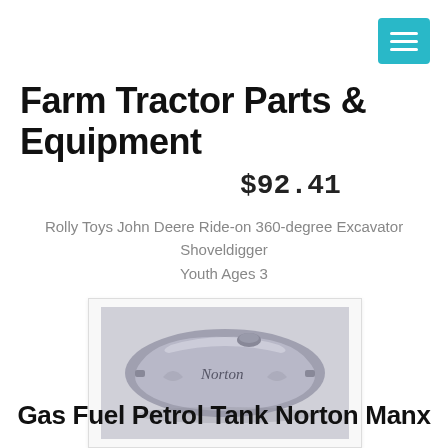Farm Tractor Parts & Equipment
$92.41
Rolly Toys John Deere Ride-on 360-degree Excavator Shoveldigger Youth Ages 3
[Figure (photo): A silver/grey motorcycle gas fuel petrol tank with Norton branding, shown against a light grey background.]
Gas Fuel Petrol Tank Norton Manx